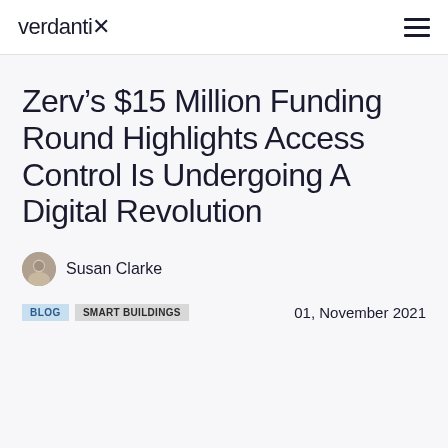verdantix
Zerv’s $15 Million Funding Round Highlights Access Control Is Undergoing A Digital Revolution
Susan Clarke
BLOG  SMART BUILDINGS  01, November 2021